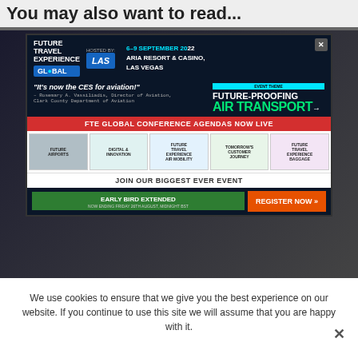You may also want to read...
[Figure (screenshot): Future Travel Experience Global conference advertisement banner showing event details: 6-9 September, ARIA Resort & Casino, Las Vegas. Tagline: 'It's now the CES for aviation!' Event theme: Future-Proofing Air Transport. FTE Global Conference Agendas Now Live. Five track icons. JOIN OUR BIGGEST EVER EVENT. EARLY BIRD EXTENDED - Now ending Friday 26th August, Midnight BST. REGISTER NOW button.]
Dont remind me again   X Close
Lufthansa introduces new cabin experience on short and medium-haul flights
We use cookies to ensure that we give you the best experience on our website. If you continue to use this site we will assume that you are happy with it.